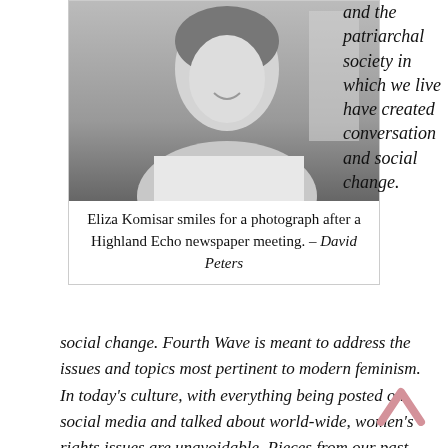[Figure (photo): Black and white photograph of Eliza Komisar smiling, head slightly tilted, wearing a white blouse, taken indoors.]
Eliza Komisar smiles for a photograph after a Highland Echo newspaper meeting. – David Peters
and the patriarchal society in which we live have created conversation and social change. Fourth Wave is meant to address the issues and topics most pertinent to modern feminism. In today's culture, with everything being posted on social media and talked about world-wide, women's rights issues are unavoidable. Pieces from our past that have been brought forward coupled with rising tensions, have led to the fourth wave of feminism. This column will attempt to make sense of the never-ending and